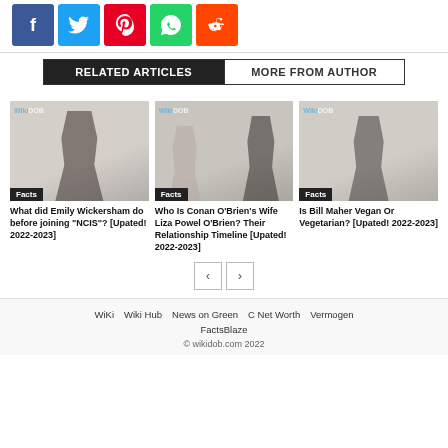[Figure (infographic): Social share buttons: Facebook (blue), Twitter (light blue), Pinterest (red), WhatsApp (green), Reddit (orange-red)]
RELATED ARTICLES | MORE FROM AUTHOR
[Figure (photo): Emily Wickersham photo with WikiDOB watermark, Facts badge]
What did Emily Wickersham do before joining “NCIS”? [Upated! 2022-2023]
[Figure (photo): Conan O'Brien and Liza Powel O'Brien photo with WikiDOB watermark, Facts badge]
Who Is Conan O’Brien’s Wife Liza Powel O’Brien? Their Relationship Timeline [Upated! 2022-2023]
[Figure (photo): Bill Maher photo with WikiDOB watermark, Facts badge]
Is Bill Maher Vegan Or Vegetarian? [Upated! 2022-2023]
WiKi  Wiki Hub  News on Green  C Net Worth  Vermogen  FactsBlaze
© wikidob.com 2022